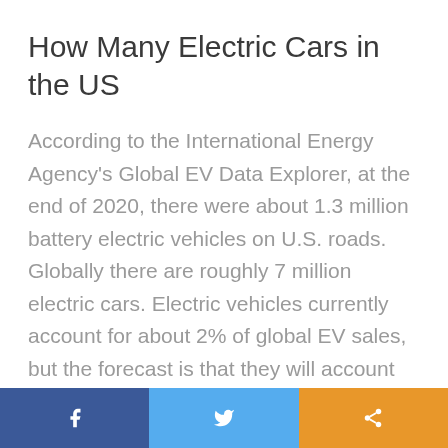How Many Electric Cars in the US
According to the International Energy Agency’s Global EV Data Explorer, at the end of 2020, there were about 1.3 million battery electric vehicles on U.S. roads. Globally there are roughly 7 million electric cars. Electric vehicles currently account for about 2% of global EV sales, but the forecast is that they will account for nearly